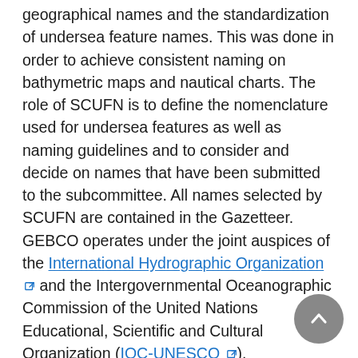geographical names and the standardization of undersea feature names. This was done in order to achieve consistent naming on bathymetric maps and nautical charts. The role of SCUFN is to define the nomenclature used for undersea features as well as naming guidelines and to consider and decide on names that have been submitted to the subcommittee. All names selected by SCUFN are contained in the Gazetteer. GEBCO operates under the joint auspices of the International Hydrographic Organization [ext] and the Intergovernmental Oceanographic Commission of the United Nations Educational, Scientific and Cultural Organization (IOC-UNESCO [ext]).
NOAA Hosts the Gazetteer
NCEI hosts and receives funding from National Geospatial-Intelligence Agency [ext] to maintain the